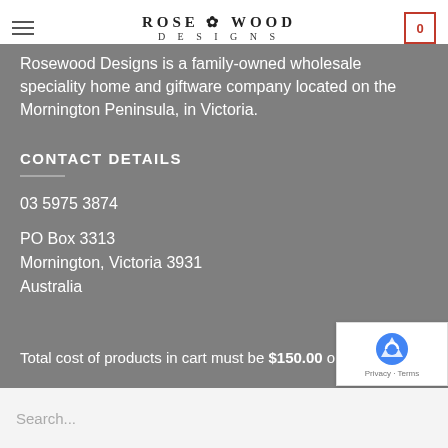Rosewood Designs — hamburger menu, logo, cart (0)
Rosewood Designs is a family-owned wholesale speciality home and giftware company located on the Mornington Peninsula, in Victoria.
CONTACT DETAILS
03 5975 3874
PO Box 3313
Mornington, Victoria 3931
Australia
Total cost of products in cart must be $150.00 or more
Search...